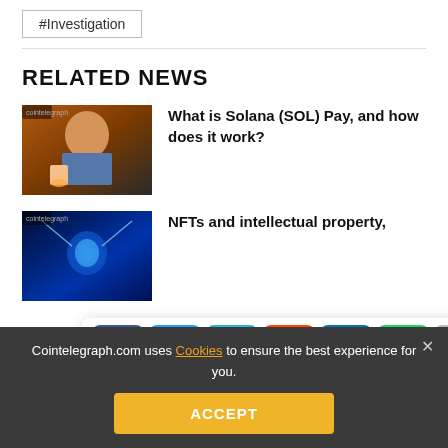#Investigation
RELATED NEWS
[Figure (photo): Illustration of a person in overalls holding a colorful object, related to Solana Pay article]
What is Solana (SOL) Pay, and how does it work?
[Figure (photo): Digital illustration of a glowing blue brain with lightning, related to NFTs and intellectual property article]
NFTs and intellectual property,
[Figure (infographic): Social share bar with Facebook, Twitter, Telegram, Reddit, LinkedIn, WhatsApp, Copy, and scroll-up buttons]
[Figure (photo): Dark image with microphone, related to third news article about investors money]
ruins of $40 billion in investors' money
Cointelegraph.com uses Cookies to ensure the best experience for you.
ACCEPT